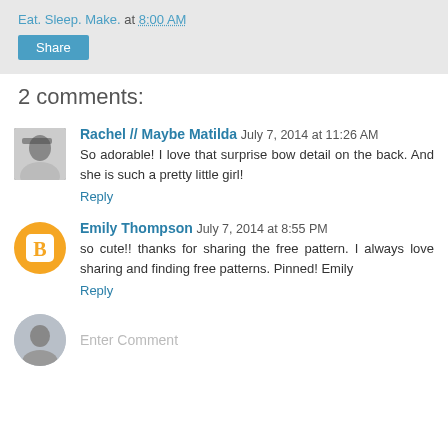Eat. Sleep. Make. at 8:00 AM
Share
2 comments:
Rachel // Maybe Matilda  July 7, 2014 at 11:26 AM
So adorable! I love that surprise bow detail on the back. And she is such a pretty little girl!
Reply
Emily Thompson  July 7, 2014 at 8:55 PM
so cute!! thanks for sharing the free pattern. I always love sharing and finding free patterns. Pinned! Emily
Reply
Enter Comment